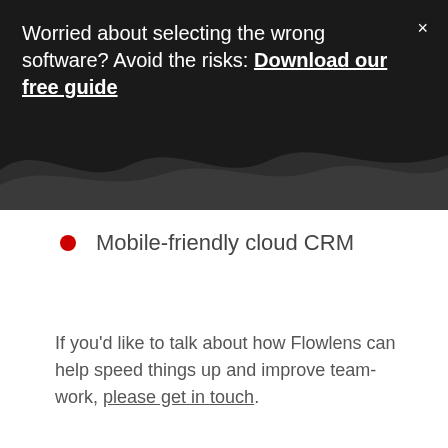[Figure (screenshot): Dark banner with wavy bottom edge and close (×) button]
Worried about selecting the wrong software? Avoid the risks: Download our free guide
Mobile-friendly cloud CRM
If you'd like to talk about how Flowlens can help speed things up and improve team-work, please get in touch.